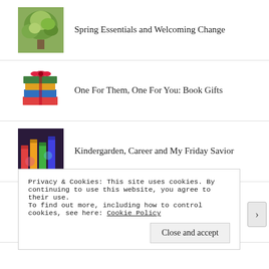Spring Essentials and Welcoming Change
One For Them, One For You: Book Gifts
Kindergarden, Career and My Friday Savior
Happy Birthday: Being Lucky in Love
Privacy & Cookies: This site uses cookies. By continuing to use this website, you agree to their use.
To find out more, including how to control cookies, see here: Cookie Policy
Close and accept